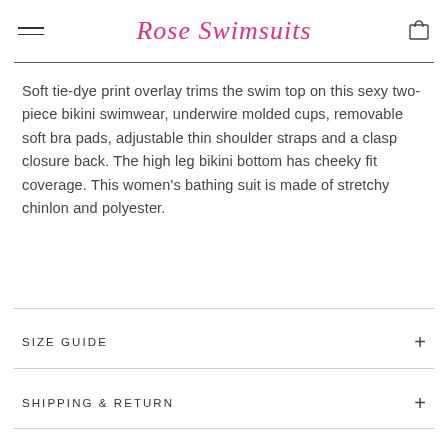Rose Swimsuits
Soft tie-dye print overlay trims the swim top on this sexy two-piece bikini swimwear, underwire molded cups, removable soft bra pads, adjustable thin shoulder straps and a clasp closure back. The high leg bikini bottom has cheeky fit coverage. This women's bathing suit is made of stretchy chinlon and polyester.
SIZE GUIDE
SHIPPING & RETURN